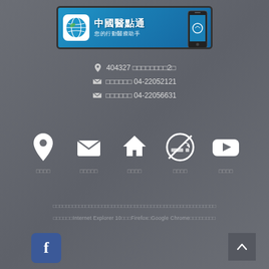[Figure (logo): 中國醫點通 banner with globe icon, phone image, title and subtitle 您的行動醫療助手]
404327 □□□□□□□□2□
□□□□□□ 04-22052121
□□□□□□ 04-22056631
[Figure (infographic): Five icon buttons: location pin, email envelope, home, no-smoking, YouTube play button, each with Chinese label below]
□□□□□□□□□□□□□□□□□□□□□□□□□□□□□□□□□□□□□□□□□□□□□□
□□□□□□Internet Explorer 10□□□Firefox□Google Chrome□□□□□□□□
[Figure (logo): Facebook blue square button with 'f' logo]